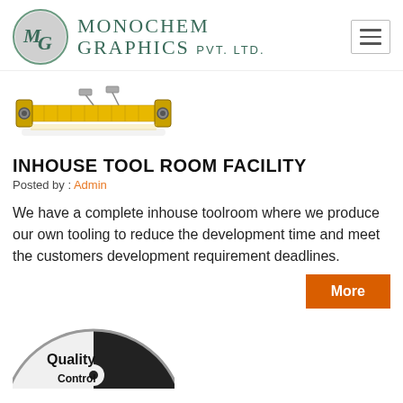[Figure (logo): Monochem Graphics Pvt. Ltd. logo with circular M/G emblem and company name in teal/green serif font]
[Figure (photo): A yellow industrial measuring or tool rod/bar with clamps at each end, shown horizontally with reflection below]
INHOUSE TOOL ROOM FACILITY
Posted by : Admin
We have a complete inhouse toolroom where we produce our own tooling to reduce the development time and meet the customers development requirement deadlines.
More
[Figure (illustration): Circular quality control badge/icon showing 'Quality Control' text in black and white yin-yang style design, partially visible at bottom]